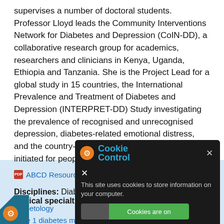supervises a number of doctoral students. Professor Lloyd leads the Community Interventions Network for Diabetes and Depression (CoIN-DD), a collaborative research group for academics, researchers and clinicians in Kenya, Uganda, Ethiopia and Tanzania. She is the Project Lead for a global study in 15 countries, the International Prevalence and Treatment of Diabetes and Depression (INTERPRET-DD) Study investigating the prevalence of recognised and unrecognised depression, diabetes-related emotional distress, and the country-specific care pathways that are initiated for people with diabetes and depression.
[Figure (screenshot): Cookie Control popup dialog with 'Cookies are on' toggle, close button, and 'READ' button at bottom.]
ABCD Resources for Webinars.pdf
Disciplines: Diabetes
Clinical specialties:
Diabetology
Type 1 diabetes mellitus
Type 2 diabetes mellitus